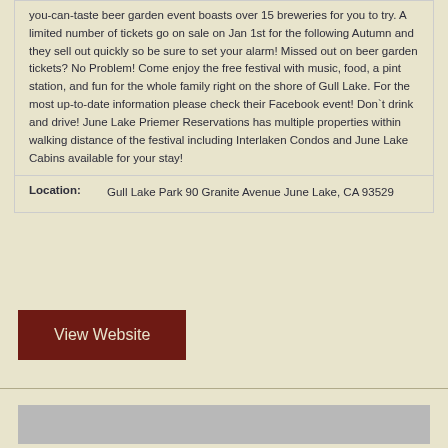you-can-taste beer garden event boasts over 15 breweries for you to try. A limited number of tickets go on sale on Jan 1st for the following Autumn and they sell out quickly so be sure to set your alarm! Missed out on beer garden tickets? No Problem! Come enjoy the free festival with music, food, a pint station, and fun for the whole family right on the shore of Gull Lake. For the most up-to-date information please check their Facebook event! Don`t drink and drive! June Lake Priemer Reservations has multiple properties within walking distance of the festival including Interlaken Condos and June Lake Cabins available for your stay!
Location: Gull Lake Park 90 Granite Avenue June Lake, CA 93529
View Website
[Figure (photo): Gray image placeholder at bottom of page]